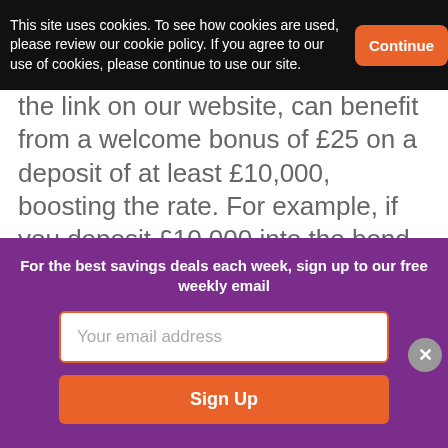This site uses cookies. To see how cookies are used, please review our cookie policy. If you agree to our use of cookies, please continue to use our site.
Continue
the link on our website, can benefit from a welcome bonus of £25 on a deposit of at least £10,000, boosting the rate. For example, if you deposit £10,000 into the bond paying 2.30% you would earn £230. Add the bonus and that equates to an effective return of 2.55% AER. If you are eligible for a bonus, you must claim it by emailing bonus@raisin.co.uk with the
For the best savings deals each week, sign up to our free weekly email
Your email address
Sign Up